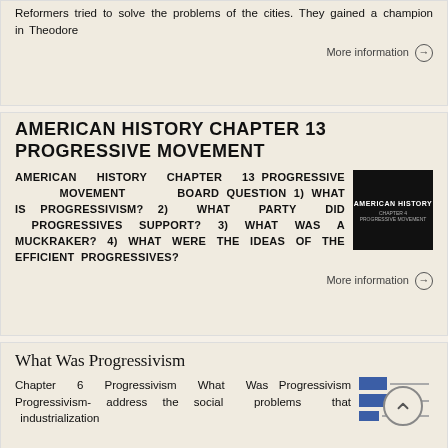Reformers tried to solve the problems of the cities. They gained a champion in Theodore
More information →
AMERICAN HISTORY CHAPTER 13 PROGRESSIVE MOVEMENT
AMERICAN HISTORY CHAPTER 13 PROGRESSIVE MOVEMENT BOARD QUESTION 1) WHAT IS PROGRESSIVISM? 2) WHAT PARTY DID PROGRESSIVES SUPPORT? 3) WHAT WAS A MUCKRAKER? 4) WHAT WERE THE IDEAS OF THE EFFICIENT PROGRESSIVES?
[Figure (photo): Black thumbnail image with white text reading 'AMERICAN HISTORY' and subtitle text below]
More information →
What Was Progressivism
Chapter 6 Progressivism What Was Progressivism Progressivism- address the social problems that industrialization
[Figure (screenshot): Thumbnail showing blue slide rectangles with gray lines representing presentation slides]